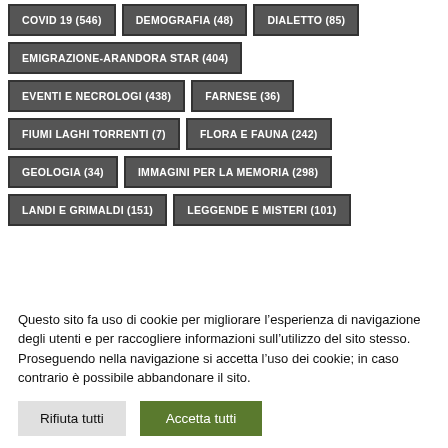COVID 19 (546)
DEMOGRAFIA (48)
DIALETTO (85)
EMIGRAZIONE-ARANDORA STAR (404)
EVENTI E NECROLOGI (438)
FARNESE (36)
FIUMI LAGHI TORRENTI (7)
FLORA E FAUNA (242)
GEOLOGIA (34)
IMMAGINI PER LA MEMORIA (298)
LANDI E GRIMALDI (151)
LEGGENDE E MISTERI (101)
Questo sito fa uso di cookie per migliorare l’esperienza di navigazione degli utenti e per raccogliere informazioni sull’utilizzo del sito stesso. Proseguendo nella navigazione si accetta l’uso dei cookie; in caso contrario è possibile abbandonare il sito.
Rifiuta tutti
Accetta tutti